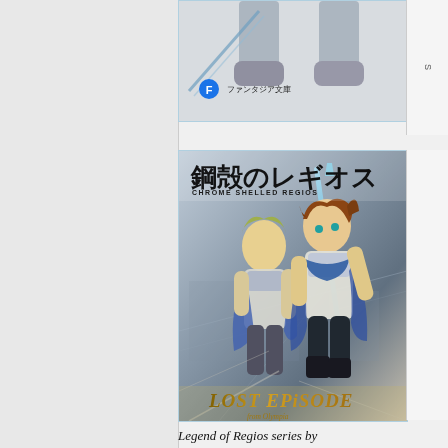[Figure (illustration): Top portion of a manga/light novel book cover showing character feet and a Fujimi Fantasia Bunko publisher logo badge with Japanese text ファンタジア文庫]
[Figure (illustration): Chrome Shelled Regios (鋼殻のレギオス) manga volume cover showing two anime characters in white armor/uniforms with weapons, titled LOST EPISODE from Olympia. Features Japanese title 鋼殻のレギオス with subtitle CHROME SHELLED REGIOS.]
Legend of Regios series by